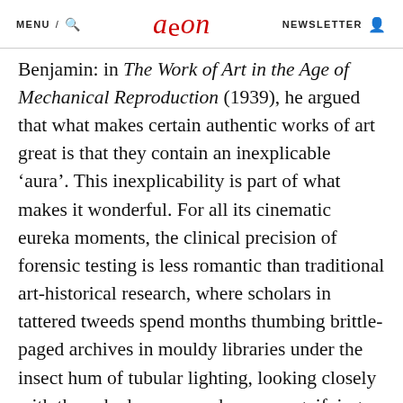MENU / [search] aeon NEWSLETTER [user icon]
Benjamin: in The Work of Art in the Age of Mechanical Reproduction (1939), he argued that what makes certain authentic works of art great is that they contain an inexplicable ‘aura’. This inexplicability is part of what makes it wonderful. For all its cinematic eureka moments, the clinical precision of forensic testing is less romantic than traditional art-historical research, where scholars in tattered tweeds spend months thumbing brittle-paged archives in mouldy libraries under the insect hum of tubular lighting, looking closely with the naked eye, or perhaps a magnifying glass, and fleshing out the story behind the artwork with scraps of information culled from old documents. But since the late 1990s, with the ubiquity of